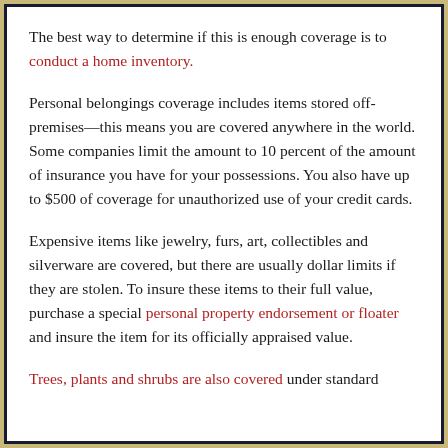The best way to determine if this is enough coverage is to conduct a home inventory.
Personal belongings coverage includes items stored off-premises—this means you are covered anywhere in the world. Some companies limit the amount to 10 percent of the amount of insurance you have for your possessions. You also have up to $500 of coverage for unauthorized use of your credit cards.
Expensive items like jewelry, furs, art, collectibles and silverware are covered, but there are usually dollar limits if they are stolen. To insure these items to their full value, purchase a special personal property endorsement or floater and insure the item for its officially appraised value.
Trees, plants and shrubs are also covered under standard